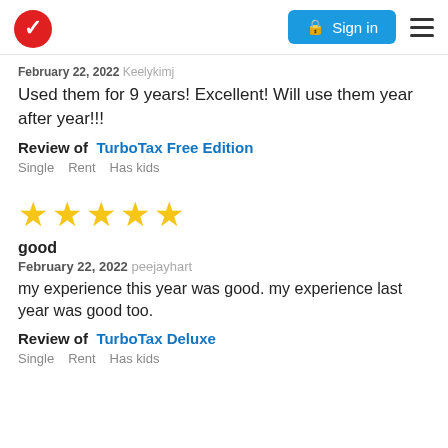Sign in (TurboTax logo header)
February 22, 2022 Keelykimj
Used them for 9 years! Excellent! Will use them year after year!!!
Review of TurboTax Free Edition
Single  Rent  Has kids
[Figure (other): 5 gold star rating]
good
February 22, 2022 peejayhart
my experience this year was good. my experience last year was good too.
Review of TurboTax Deluxe
Single  Rent  Has kids